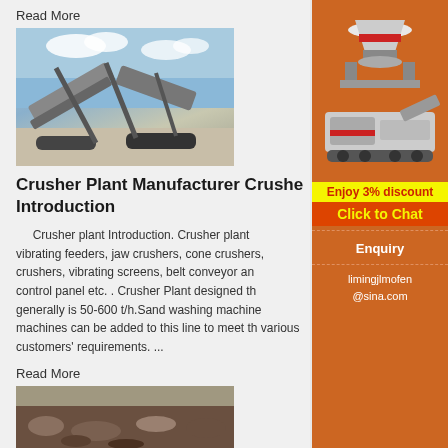Read More
[Figure (photo): Crusher plant machinery with conveyor belts against a blue sky, outdoor industrial setting]
Crusher Plant Manufacturer Crusher Introduction
Crusher plant Introduction. Crusher plant vibrating feeders, jaw crushers, cone crushers, crushers, vibrating screens, belt conveyor and control panel etc. . Crusher Plant designed th generally is 50-600 t/h.Sand washing machine machines can be added to this line to meet the various customers' requirements. ...
Read More
[Figure (photo): Ground-level view of crushed rock/quarry material]
[Figure (illustration): Sidebar showing industrial crusher machines (cone crusher and mobile crushing plant) on orange background]
Enjoy 3% discount
Click to Chat
Enquiry
limingjlmofen@sina.com